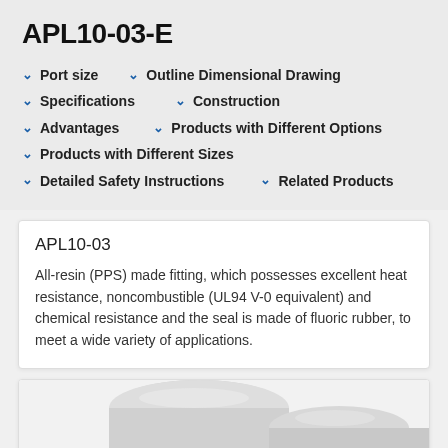APL10-03-E
Port size
Outline Dimensional Drawing
Specifications
Construction
Advantages
Products with Different Options
Products with Different Sizes
Detailed Safety Instructions
Related Products
APL10-03
All-resin (PPS) made fitting, which possesses excellent heat resistance, noncombustible (UL94 V-0 equivalent) and chemical resistance and the seal is made of fluoric rubber, to meet a wide variety of applications.
[Figure (photo): Photo of a grey/silver fitting component (APL10-03), showing the top portion of a cylindrical or tubular fitting part made of PPS resin material.]